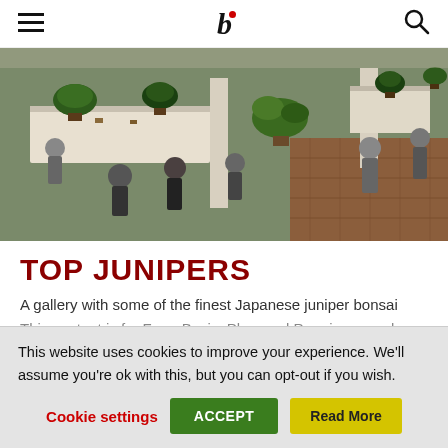b [bonsai website header with hamburger menu and search icon]
[Figure (photo): Aerial/overhead view of a bonsai exhibition hall showing tables with bonsai trees on display stands, visitors walking around viewing the exhibits, with a brick floor visible in the foreground]
TOP JUNIPERS
A gallery with some of the finest Japanese juniper bonsai
This content is for Free, Basic, Plus, and Premium members only.
This website uses cookies to improve your experience. We'll assume you're ok with this, but you can opt-out if you wish.
Cookie settings | ACCEPT | Read More